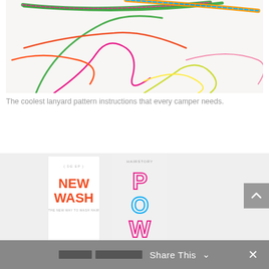[Figure (photo): Overhead photo of colorful lanyards and strings in various colors (green, orange, pink, blue, yellow) on a white background showing braided/knotted lanyard patterns]
The coolest lanyard pattern instructions that every camper needs.
[Figure (photo): Photo of hair care product bottles: a white bottle labeled 'NEW WASH' in orange text with 'THE NEW WAY TO WASH HAIR' subtitle, and another bottle with 'POW' in outlined pink/blue text, with Hairstory branding. Bottles are reflected on surface below.]
Share This ∨